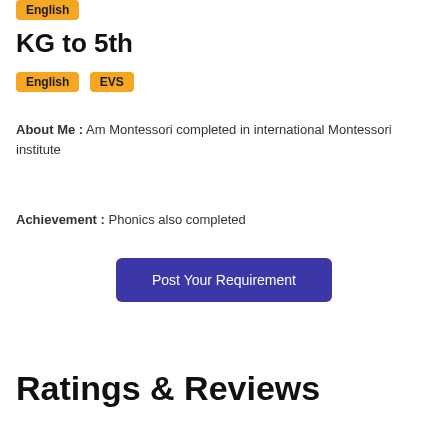English
KG to 5th
English  EVS
About Me : Am Montessori completed in international Montessori institute
Achievement : Phonics also completed
[Figure (other): Post Your Requirement button]
Ratings & Reviews